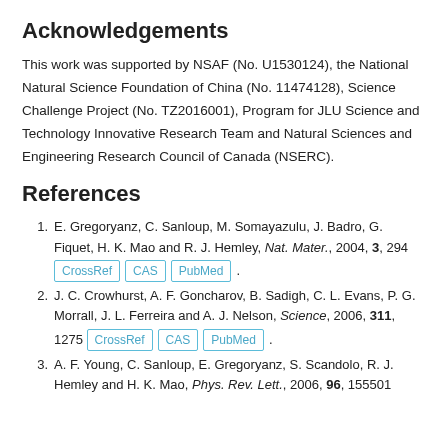Acknowledgements
This work was supported by NSAF (No. U1530124), the National Natural Science Foundation of China (No. 11474128), Science Challenge Project (No. TZ2016001), Program for JLU Science and Technology Innovative Research Team and Natural Sciences and Engineering Research Council of Canada (NSERC).
References
1. E. Gregoryanz, C. Sanloup, M. Somayazulu, J. Badro, G. Fiquet, H. K. Mao and R. J. Hemley, Nat. Mater., 2004, 3, 294 [CrossRef] [CAS] [PubMed].
2. J. C. Crowhurst, A. F. Goncharov, B. Sadigh, C. L. Evans, P. G. Morrall, J. L. Ferreira and A. J. Nelson, Science, 2006, 311, 1275 [CrossRef] [CAS] [PubMed].
3. A. F. Young, C. Sanloup, E. Gregoryanz, S. Scandolo, R. J. Hemley and H. K. Mao, Phys. Rev. Lett., 2006, 96, 155501